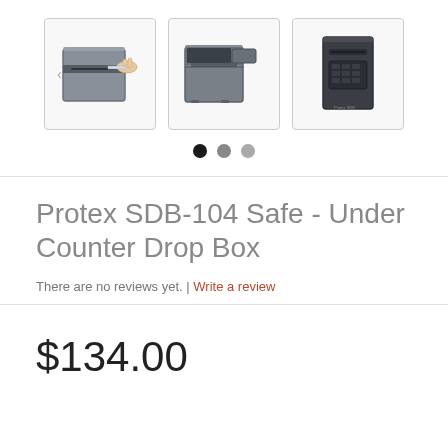[Figure (photo): Three product thumbnail images of a Protex SDB-104 Under Counter Drop Box safe shown from different angles in a gallery carousel layout, with three navigation dots below.]
Protex SDB-104 Safe - Under Counter Drop Box
There are no reviews yet. | Write a review
$134.00